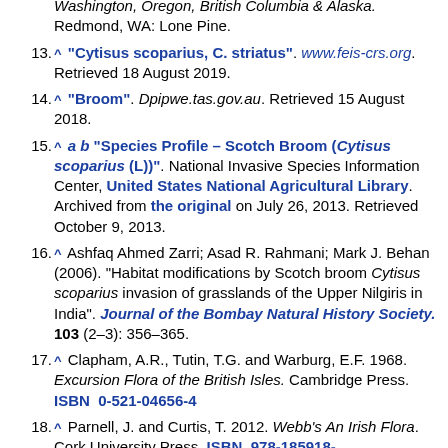Washington, Oregon, British Columbia & Alaska. Redmond, WA: Lone Pine.
13. ^ "Cytisus scoparius, C. striatus". www.feis-crs.org. Retrieved 18 August 2019.
14. ^ "Broom". Dpipwe.tas.gov.au. Retrieved 15 August 2018.
15. ^ a b "Species Profile – Scotch Broom (Cytisus scoparius (L))". National Invasive Species Information Center, United States National Agricultural Library. Archived from the original on July 26, 2013. Retrieved October 9, 2013.
16. ^ Ashfaq Ahmed Zarri; Asad R. Rahmani; Mark J. Behan (2006). "Habitat modifications by Scotch broom Cytisus scoparius invasion of grasslands of the Upper Nilgiris in India". Journal of the Bombay Natural History Society. 103 (2–3): 356–365.
17. ^ Clapham, A.R., Tutin, T.G. and Warburg, E.F. 1968. Excursion Flora of the British Isles. Cambridge Press. ISBN 0-521-04656-4
18. ^ Parnell, J. and Curtis, T. 2012. Webb's An Irish Flora. Cork University Press. ISBN 978-185918-4787